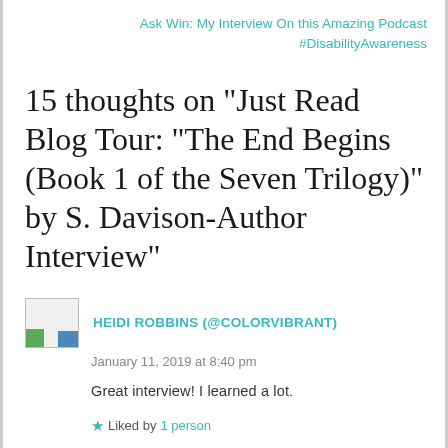Ask Win: My Interview On this Amazing Podcast #DisabilityAwareness
15 thoughts on “Just Read Blog Tour: “The End Begins (Book 1 of the Seven Trilogy)” by S. Davison-Author Interview”
HEIDI ROBBINS (@COLORVIBRANT)
January 11, 2019 at 8:40 pm
Great interview! I learned a lot.
Liked by 1 person
Reply →